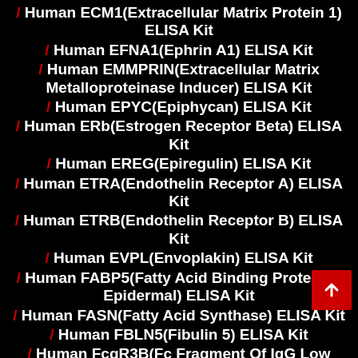/ Human ECM1(Extracellular Matrix Protein 1) ELISA Kit
/ Human EFNA1(Ephrin A1) ELISA Kit
/ Human EMMPRIN(Extracellular Matrix Metalloproteinase Inducer) ELISA Kit
/ Human EPYC(Epiphycan) ELISA Kit
/ Human ERb(Estrogen Receptor Beta) ELISA Kit
/ Human EREG(Epiregulin) ELISA Kit
/ Human ETRA(Endothelin Receptor A) ELISA Kit
/ Human ETRB(Endothelin Receptor B) ELISA Kit
/ Human EVPL(Envoplakin) ELISA Kit
/ Human FABP5(Fatty Acid Binding Protein 5, Epidermal) ELISA Kit
/ Human FASN(Fatty Acid Synthase) ELISA Kit
/ Human FBLN5(Fibulin 5) ELISA Kit
/ Human FcgR3B(Fc Fragment Of IgG Low Affinity IIIb Receptor) ELISA Kit
/ Human FCN1(Ficolin 1) ELISA Kit
/ Human FCN2(Ficolin 2) ELISA Kit